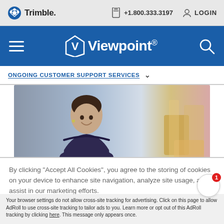Trimble | +1.800.333.3197 | LOGIN
[Figure (screenshot): Viewpoint by Trimble navigation bar with hamburger menu, Viewpoint logo, and search icon on blue background]
ONGOING CUSTOMER SUPPORT SERVICES
[Figure (photo): Smiling woman in navy dress with arms crossed in an office environment]
By clicking "Accept All Cookies", you agree to the storing of cookies on your device to enhance site navigation, analyze site usage, and assist in our marketing efforts.
Accept a
Your browser settings do not allow cross-site tracking for advertising. Click on this page to allow AdRoll to use cross-site tracking to tailor ads to you. Learn more or opt out of this AdRoll tracking by clicking here. This message only appears once.